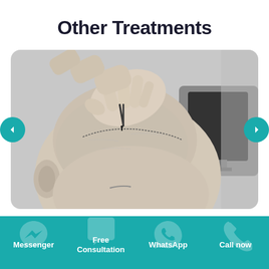Other Treatments
[Figure (photo): Black and white photo of a medical professional performing a hair transplant procedure, inserting a graft into a bald patient's scalp. Navigation arrows on left and right sides.]
Messenger | Free Consultation | WhatsApp | Call now